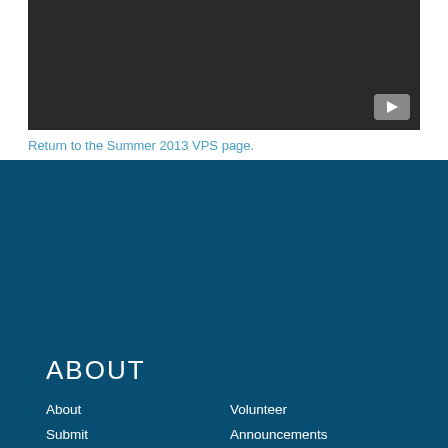[Figure (screenshot): Dark video player thumbnail with YouTube play button in bottom right corner]
Return to the Summer 2013 VPS page.
ABOUT
About
Submit
Newsletter
Op-Ed
Volunteer
Announcements
Calendar
Contact
TOPICS
Agriculture
Biodiversity
Oceans
People